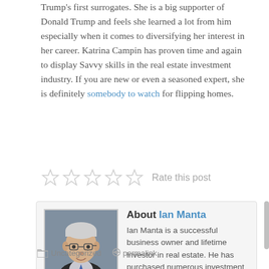Trump's first surrogates. She is a big supporter of Donald Trump and feels she learned a lot from him especially when it comes to diversifying her interest in her career. Katrina Campin has proven time and again to display Savvy skills in the real estate investment industry. If you are new or even a seasoned expert, she is definitely somebody to watch for flipping homes.
[Figure (other): Five empty star rating icons with 'Rate this post' label]
About Ian Manta
Ian Manta is a successful business owner and lifetime investor in real estate. He has purchased numerous investment properties to grow assets, and develop passive income.
Uncategorized  permalink